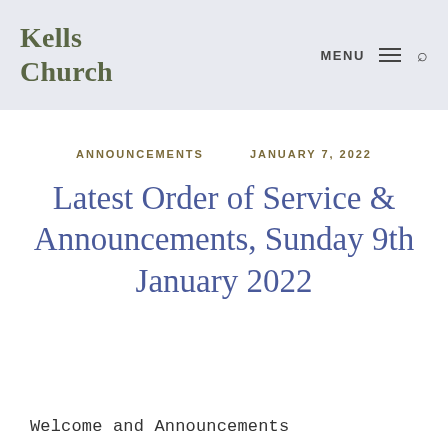Kells Church
ANNOUNCEMENTS   JANUARY 7, 2022
Latest Order of Service & Announcements, Sunday 9th January 2022
Welcome and Announcements